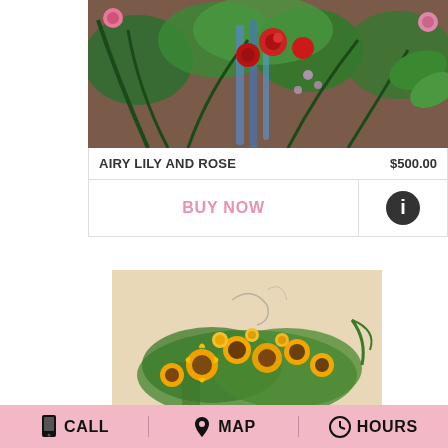[Figure (photo): Funeral flower arrangement with red roses, pink roses, blue delphinium, and greenery against a brown background]
AIRY LILY AND ROSE    $500.00
BUY NOW
[Figure (photo): Yellow sunflower and daisy funeral arrangement on a wooden stand against a beige background]
CALL   MAP   HOURS